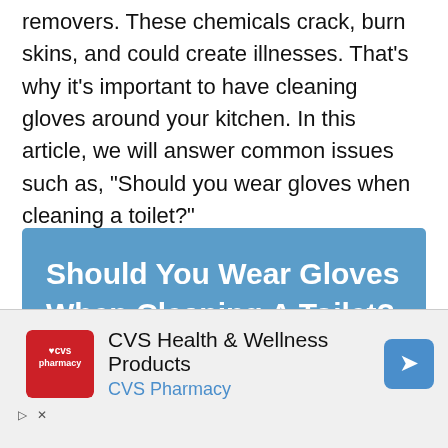removers. These chemicals crack, burn skins, and could create illnesses. That's why it's important to have cleaning gloves around your kitchen. In this article, we will answer common issues such as, “Should you wear gloves when cleaning a toilet?”
[Figure (infographic): Blue banner with bold white text reading 'Should You Wear Gloves When Cleaning A Toilet?']
Should you wear gloves when cleaning a toil...
[Figure (logo): CVS Pharmacy advertisement with CVS Health & Wellness Products logo, red CVS pharmacy square logo, and Google Maps navigation icon]